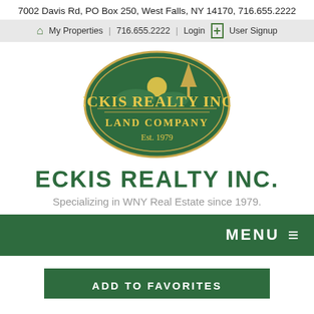7002 Davis Rd, PO Box 250, West Falls, NY 14170, 716.655.2222
🏠 My Properties  Login  ✚ User Signup
[Figure (logo): Eckis Realty Inc. Land Company oval green logo with yellow text and tree/sun illustration, Est. 1979]
ECKIS REALTY INC.
Specializing in WNY Real Estate since 1979.
MENU ≡
ADD TO FAVORITES